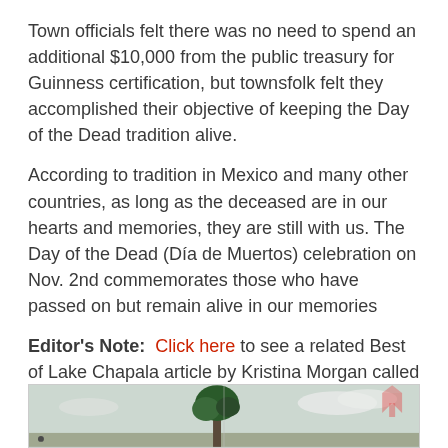Town officials felt there was no need to spend an additional $10,000 from the public treasury for Guinness certification, but townsfolk felt they accomplished their objective of keeping the Day of the Dead tradition alive.
According to tradition in Mexico and many other countries, as long as the deceased are in our hearts and memories, they are still with us. The Day of the Dead (Día de Muertos) celebration on Nov. 2nd commemorates those who have passed on but remain alive in our memories
Editor's Note: Click here to see a related Best of Lake Chapala article by Kristina Morgan called Day of the Dead very much Alive in Mexico.
[Figure (photo): Outdoor photograph showing trees and sky, partially visible at the bottom of the page.]